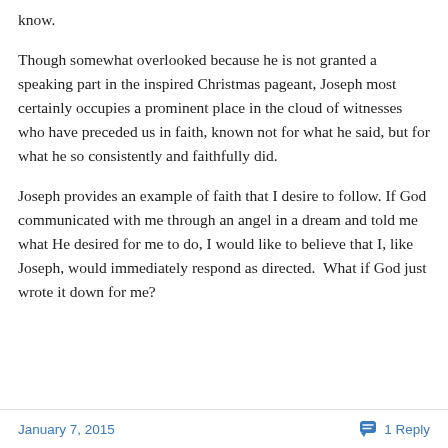know.
Though somewhat overlooked because he is not granted a speaking part in the inspired Christmas pageant, Joseph most certainly occupies a prominent place in the cloud of witnesses who have preceded us in faith, known not for what he said, but for what he so consistently and faithfully did.
Joseph provides an example of faith that I desire to follow. If God communicated with me through an angel in a dream and told me what He desired for me to do, I would like to believe that I, like Joseph, would immediately respond as directed.  What if God just wrote it down for me?
January 7, 2015   1 Reply